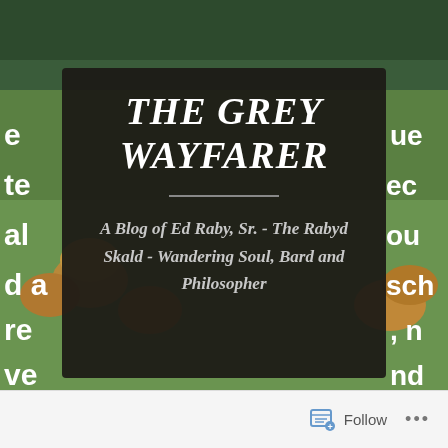[Figure (photo): Background landscape photo showing green fields with hay bales and trees, with white bold text fragments visible on both sides of the image. A dark semi-transparent panel overlays the center.]
THE GREY WAYFARER
A Blog of Ed Raby, Sr. - The Rabyd Skald - Wandering Soul, Bard and Philosopher
Follow ...